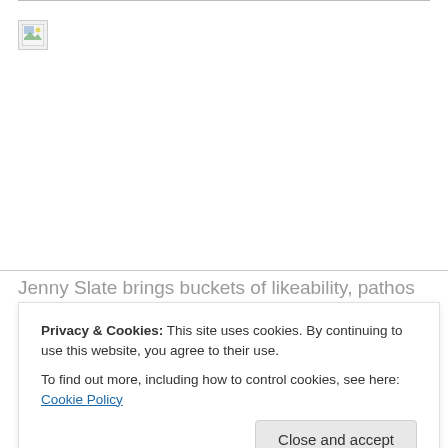[Figure (photo): Broken/missing image placeholder with small icon in top-left corner, large white/empty image area with a thin horizontal line at the top]
Jenny Slate brings buckets of likeability, pathos and gut busting comedy as the lead in Obvious Child. (image:
Privacy & Cookies: This site uses cookies. By continuing to use this website, you agree to their use.
To find out more, including how to control cookies, see here: Cookie Policy
so negative that I had to explain how much I enjoy